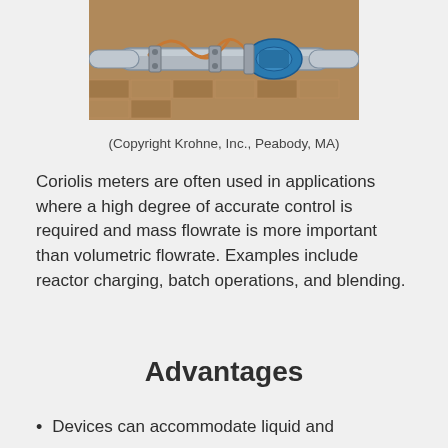[Figure (photo): Photograph of Coriolis flow meter equipment mounted on pipes, showing metallic pipe fittings with a blue device and copper wire connections, against a brick background.]
(Copyright Krohne, Inc., Peabody, MA)
Coriolis meters are often used in applications where a high degree of accurate control is required and mass flowrate is more important than volumetric flowrate. Examples include reactor charging, batch operations, and blending.
Advantages
Devices can accommodate liquid and